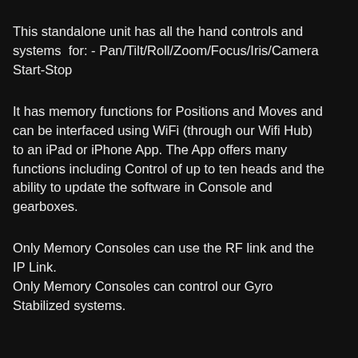This standalone unit has all the hand controls and systems  for: - Pan/Tilt/Roll/Zoom/Focus/Iris/Camera Start-Stop
It has memory functions for Positions and Moves and can be interfaced using WiFi (through our Wifi Hub) to an iPad or iPhone App. The App offers many functions including Control of up to ten heads and the ability to update the software in Console and gearboxes.
Only Memory Consoles can use the RF link and the IP Link. Only Memory Consoles can control our Gyro Stabilized systems.